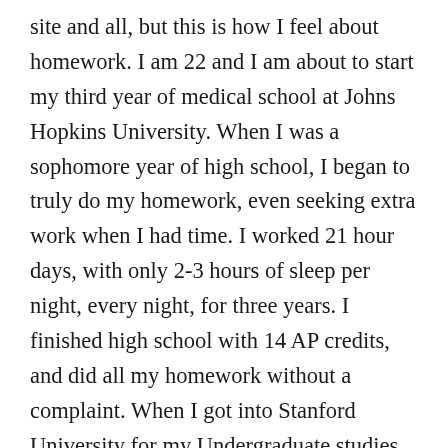site and all, but this is how I feel about homework. I am 22 and I am about to start my third year of medical school at Johns Hopkins University. When I was a sophomore year of high school, I began to truly do my homework, even seeking extra work when I had time. I worked 21 hour days, with only 2-3 hours of sleep per night, every night, for three years. I finished high school with 14 AP credits, and did all my homework without a complaint. When I got into Stanford University for my Undergraduate studies at the age of 16, only then did I realize how much doing my homework helped me. At Stanford, I did even better than I did in High school, the long work days and the countless hours of homework, instead of stressing me out in college, made my life a Stanford easily the best years of my life. This whole narrative of my experience with homework would show